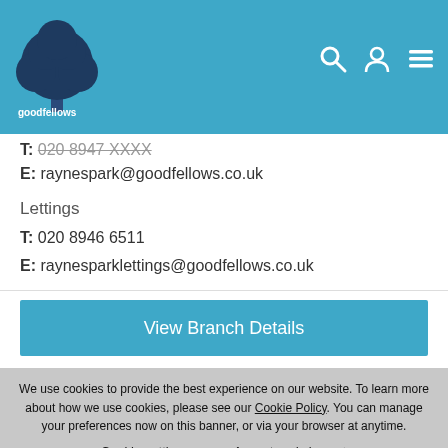goodfellows
E: raynespark@goodfellows.co.uk
Lettings
T: 020 8946 6511
E: raynesparklettings@goodfellows.co.uk
View Branch Details
We use cookies to provide the best experience on our website. To learn more about how we use cookies, please see our Cookie Policy. You can manage your preferences now on this banner, or via your browser at anytime.
Cookie settings
Accept and close